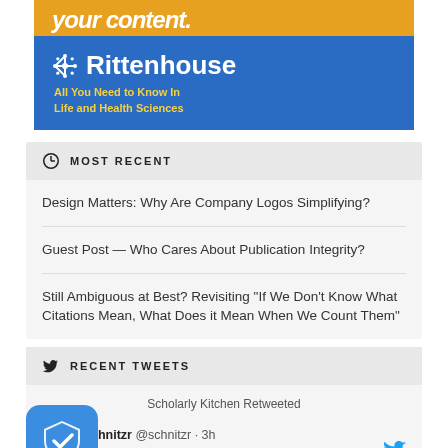[Figure (illustration): Rittenhouse advertisement banner. Blue and gold/orange background with snowflake logo. Text: 'your content.' at top, 'Rittenhouse' brand name, 'All You Need to Know In Life and Health Sciences' tagline.]
MOST RECENT
Design Matters: Why Are Company Logos Simplifying?
Guest Post — Who Cares About Publication Integrity?
Still Ambiguous at Best? Revisiting "If We Don't Know What Citations Mean, What Does it Mean When We Count Them"
RECENT TWEETS
Scholarly Kitchen Retweeted
schnitzr @schnitzr · 3h